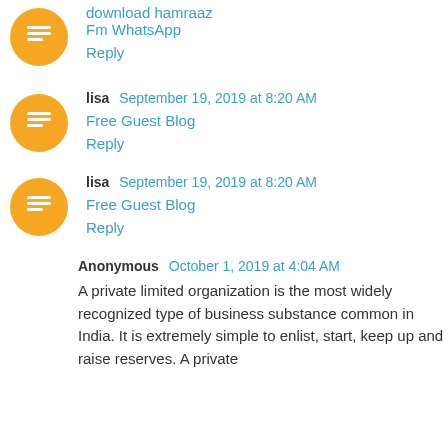download hamraaz
Fm WhatsApp
Reply
lisa  September 19, 2019 at 8:20 AM
Free Guest Blog
Reply
lisa  September 19, 2019 at 8:20 AM
Free Guest Blog
Reply
Anonymous  October 1, 2019 at 4:04 AM
A private limited organization is the most widely recognized type of business substance common in India. It is extremely simple to enlist, start, keep up and raise reserves. A private